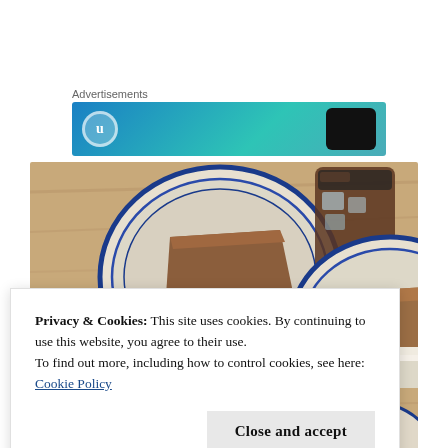Advertisements
[Figure (photo): Advertisement banner with blue/teal gradient background, circular logo icon on left, and dark phone silhouette on right]
[Figure (photo): Overhead view of two plates with slices of brown cake with white frosting on a wooden table, alongside a glass of dark iced drink]
Privacy & Cookies: This site uses cookies. By continuing to use this website, you agree to their use.
To find out more, including how to control cookies, see here: Cookie Policy
Close and accept